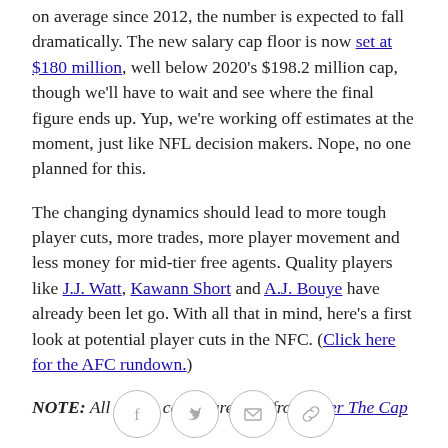on average since 2012, the number is expected to fall dramatically. The new salary cap floor is now set at $180 million, well below 2020's $198.2 million cap, though we'll have to wait and see where the final figure ends up. Yup, we're working off estimates at the moment, just like NFL decision makers. Nope, no one planned for this.
The changing dynamics should lead to more tough player cuts, more trades, more player movement and less money for mid-tier free agents. Quality players like J.J. Watt, Kawann Short and A.J. Bouye have already been let go. With all that in mind, here's a first look at potential player cuts in the NFC. (Click here for the AFC rundown.)
NOTE: All salary cap figures are from Over The Cap
[Figure (other): Social sharing icons: Facebook, Twitter, Email, Link/copy]